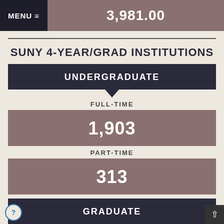3,981.00
SUNY 4-YEAR/GRAD INSTITUTIONS
UNDERGRADUATE
FULL-TIME
1,903
PART-TIME
313
GRADUATE
FULL-TIME